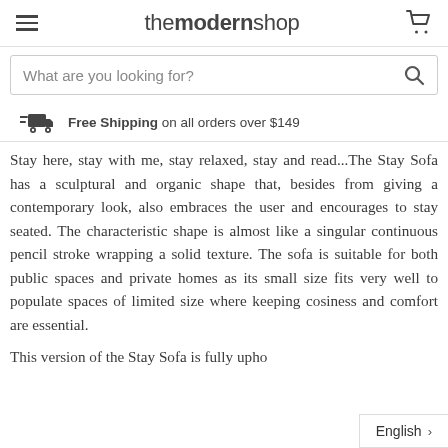themodernshop
What are you looking for?
Free Shipping on all orders over $149
Stay here, stay with me, stay relaxed, stay and read...The Stay Sofa has a sculptural and organic shape that, besides from giving a contemporary look, also embraces the user and encourages to stay seated. The characteristic shape is almost like a singular continuous pencil stroke wrapping a solid texture. The sofa is suitable for both public spaces and private homes as its small size fits very well to populate spaces of limited size where keeping cosiness and comfort are essential.
This version of the Stay Sofa is fully upho
English